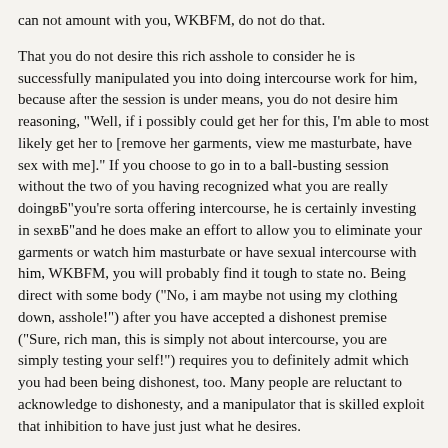can not amount with you, WKBFM, do not do that.
That you do not desire this rich asshole to consider he is successfully manipulated you into doing intercourse work for him, because after the session is under means, you do not desire him reasoning, "Well, if i possibly could get her for this, I'm able to most likely get her to [remove her garments, view me masturbate, have sex with me]." If you choose to go in to a ball-busting session without the two of you having recognized what you are really doingвБ"you're sorta offering intercourse, he is certainly investing in sexвБ"and he does make an effort to allow you to eliminate your garments or watch him masturbate or have sexual intercourse with him, WKBFM, you will probably find it tough to state no. Being direct with some body ("No, i am maybe not using my clothing down, asshole!") after you have accepted a dishonest premise ("Sure, rich man, this is simply not about intercourse, you are simply testing your self!") requires you to definitely admit which you had been being dishonest, too. Many people are reluctant to acknowledge to dishonesty, and a manipulator that is skilled exploit that inhibition to have just just what he desires.
Therefore make sure he understands you will playвБ"you'll bust their ballsвБ"but you are not likely to play along. He has to acknowledge that this will be about sex and then he needs to consent